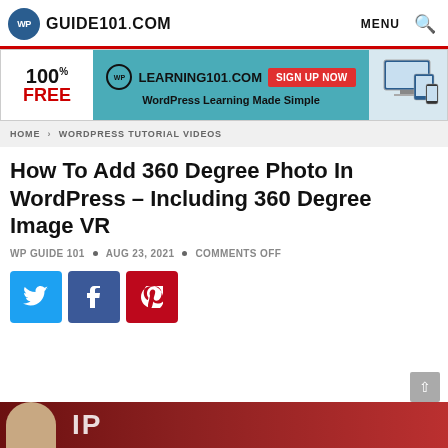WP GUIDE101.COM   MENU
[Figure (infographic): Advertisement banner for WPLearning101.com: 100% FREE, WordPress Learning Made Simple, Sign Up Now button]
HOME > WORDPRESS TUTORIAL VIDEOS
How To Add 360 Degree Photo In WordPress – Including 360 Degree Image VR
WP GUIDE 101 • AUG 23, 2021 • COMMENTS OFF
[Figure (infographic): Social share buttons: Twitter (blue), Facebook (dark blue), Pinterest (red)]
[Figure (photo): Partially visible bottom banner with a person's face and red background]